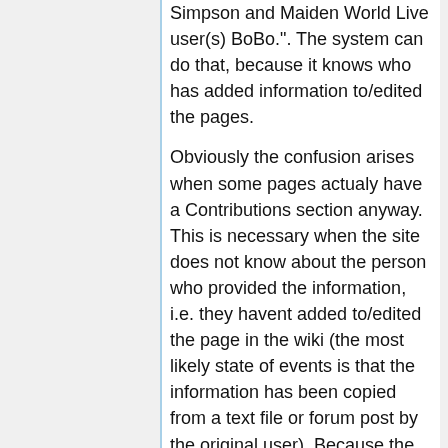Simpson and Maiden World Live user(s) BoBo.". The system can do that, because it knows who has added information to/edited the pages.
Obviously the confusion arises when some pages actualy have a Contributions section anyway. This is necessary when the site does not know about the person who provided the information, i.e. they havent added to/edited the page in the wiki (the most likely state of events is that the information has been copied from a text file or forum post by the original user). Because the system doesnt know about this person, it doesnt credit them, so to be fair we add an explicit mention for that person on the page.
Ideally, that person will eventually come to the site, and delete their name from